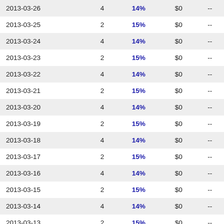| Date |  | % | $ |  |
| --- | --- | --- | --- | --- |
| 2013-03-26 | 4 | 14% | $0 | -- |
| 2013-03-25 | 2 | 15% | $0 | -- |
| 2013-03-24 | 4 | 14% | $0 | -- |
| 2013-03-23 | 2 | 15% | $0 | -- |
| 2013-03-22 | 4 | 14% | $0 | -- |
| 2013-03-21 | 2 | 15% | $0 | -- |
| 2013-03-20 | 4 | 14% | $0 | -- |
| 2013-03-19 | 2 | 15% | $0 | -- |
| 2013-03-18 | 4 | 14% | $0 | -- |
| 2013-03-17 | 2 | 15% | $0 | -- |
| 2013-03-16 | 4 | 14% | $0 | -- |
| 2013-03-15 | 2 | 15% | $0 | -- |
| 2013-03-14 | 4 | 14% | $0 | -- |
| 2013-03-13 | 2 | 15% | $0 | -- |
| 2013-03-12 | 4 | 14% | $0 | -- |
| 2013-03-11 | 2 | 15% | $0 | -- |